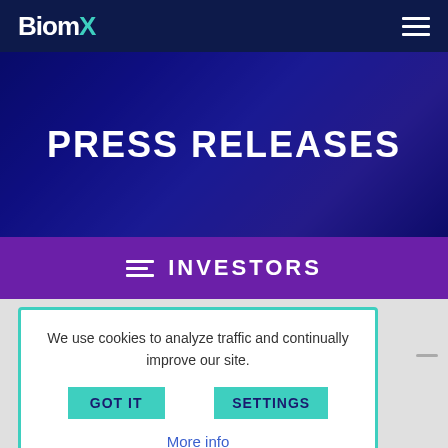BiomX
PRESS RELEASES
INVESTORS
We use cookies to analyze traffic and continually improve our site.
GOT IT
SETTINGS
More info